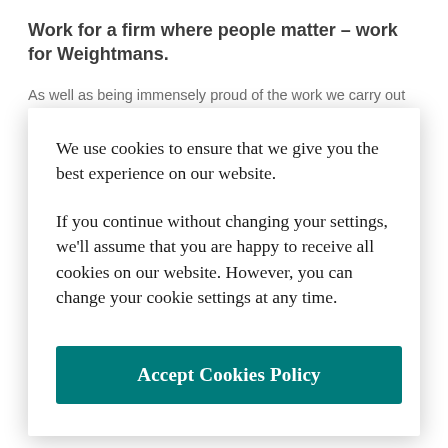Work for a firm where people matter – work for Weightmans.
As well as being immensely proud of the work we carry out for our clients and the culture we provide to our
We use cookies to ensure that we give you the best experience on our website.
If you continue without changing your settings, we'll assume that you are happy to receive all cookies on our website. However, you can change your cookie settings at any time.
Accept Cookies Policy
by p
Discounted dental scheme